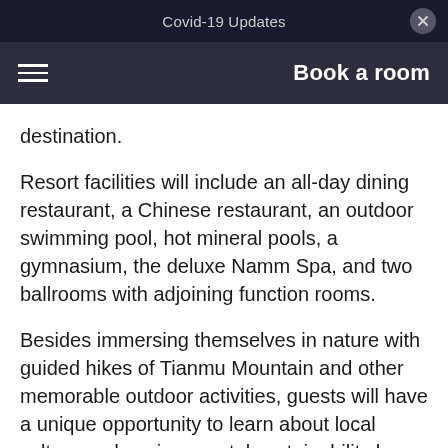Covid-19 Updates
Book a room
destination.
Resort facilities will include an all-day dining restaurant, a Chinese restaurant, an outdoor swimming pool, hot mineral pools, a gymnasium, the deluxe Namm Spa, and two ballrooms with adjoining function rooms.
Besides immersing themselves in nature with guided hikes of Tianmu Mountain and other memorable outdoor activities, guests will have a unique opportunity to learn about local culture and environmental sustainability by